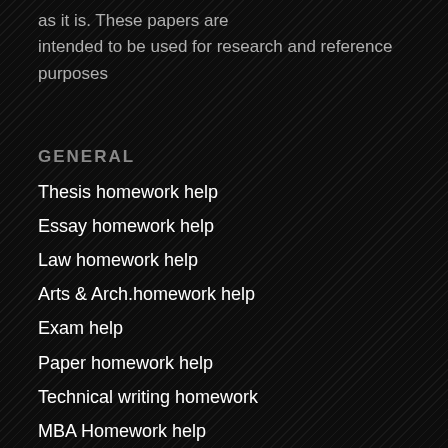as it is. These papers are intended to be used for research and reference purposes
GENERAL
Thesis homework help
Essay homework help
Law homework help
Arts & Arch.homework help
Exam help
Paper homework help
Technical writing homework
MBA Homework help
Assignment help
Other Homework help